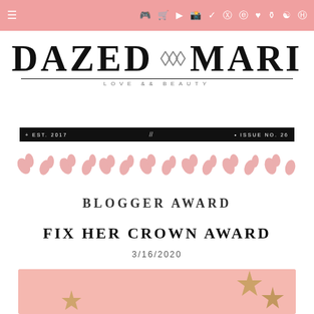Navigation bar with menu icon and social media icons
DAZED ◇◇◇ MARI
LOVE && BEAUTY
+ EST. 2017 // • ISSUE NO. 26
[Figure (illustration): Row of pink rose petals decorating the page]
BLOGGER AWARD
FIX HER CROWN AWARD
3/16/2020
[Figure (photo): Pink background with decorative gold star ornaments at bottom of page]